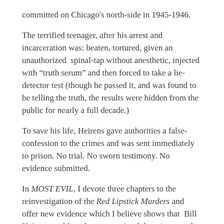committed on Chicago's north-side in 1945-1946.
The terrified teenager, after his arrest and incarceration was: beaten, tortured, given an unauthorized spinal-tap without anesthetic, injected with “truth serum” and then forced to take a lie-detector test (though he passed it, and was found to be telling the truth, the results were hidden from the public for nearly a full decade.)
To save his life, Heirens gave authorities a false-confession to the crimes and was sent immediately to prison. No trial. No sworn testimony. No evidence submitted.
In MOST EVIL, I devote three chapters to the reinvestigation of the Red Lipstick Murders and offer new evidence which I believe shows that Bill Heirens could not have committed the crimes, and which point to Dr. George Hill Hodel as the actual killer.
In ten-days, Bill Heiren’s will be 82. This is the 63rd birthday